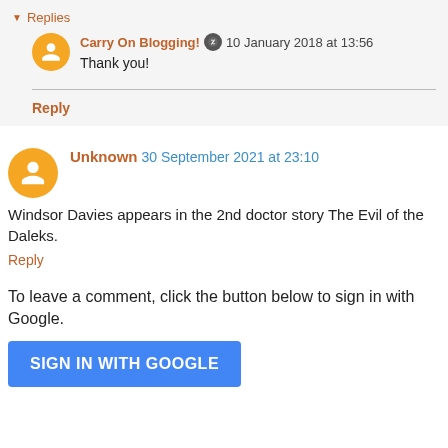Replies
Carry On Blogging! 10 January 2018 at 13:56
Thank you!
Reply
Unknown 30 September 2021 at 23:10
Windsor Davies appears in the 2nd doctor story The Evil of the Daleks.
Reply
To leave a comment, click the button below to sign in with Google.
SIGN IN WITH GOOGLE